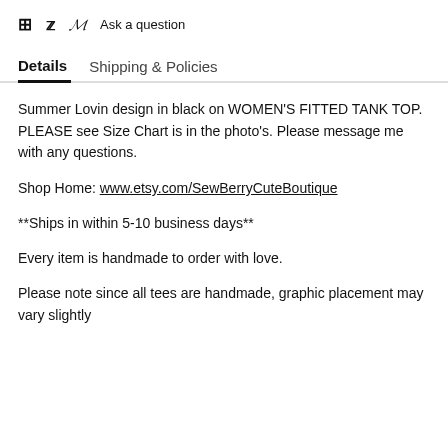f  🐦  ⱷ  Ask a question
Details   Shipping & Policies
Summer Lovin design in black on WOMEN'S FITTED TANK TOP. PLEASE see Size Chart is in the photo's. Please message me with any questions.
Shop Home: www.etsy.com/SewBerryCuteBoutique
**Ships in within 5-10 business days**
Every item is handmade to order with love.
Please note since all tees are handmade, graphic placement may vary slightly